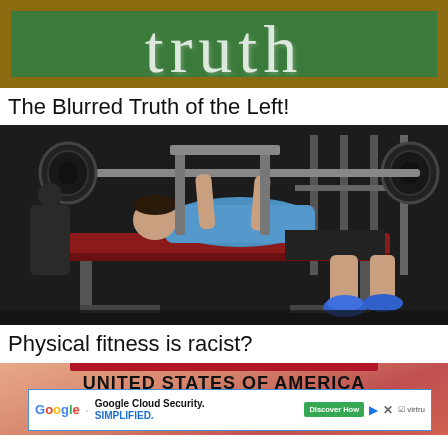[Figure (photo): Chalkboard with partially visible word 'truth' in white chalk text on green background with wooden frame border]
The Blurred Truth of the Left!
[Figure (photo): Man performing bench press exercise in a gym, lying on a red bench, lifting a barbell with weights, wearing blue shirt and black shorts]
Physical fitness is racist?
[Figure (screenshot): Screenshot showing United States of America text over a red and orange gradient background, with a Google Cloud Security advertisement overlay]